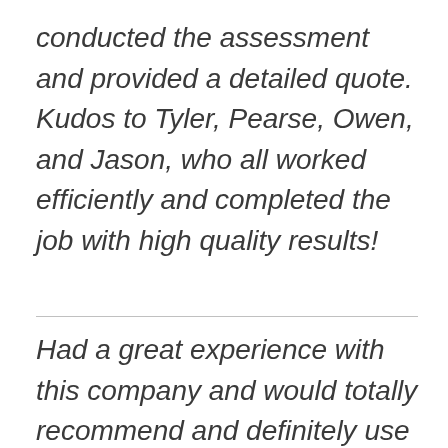conducted the assessment and provided a detailed quote. Kudos to Tyler, Pearse, Owen, and Jason, who all worked efficiently and completed the job with high quality results!
Had a great experience with this company and would totally recommend and definitely use again for and future projects. From the